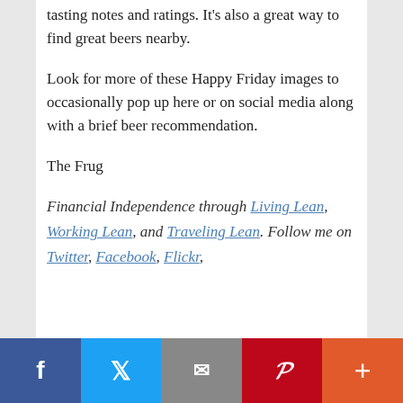tasting notes and ratings. It's also a great way to find great beers nearby.
Look for more of these Happy Friday images to occasionally pop up here or on social media along with a brief beer recommendation.
The Frug
Financial Independence through Living Lean, Working Lean, and Traveling Lean. Follow me on Twitter, Facebook, Flickr,
[Figure (infographic): Social sharing bar with Facebook, Twitter, Email, Pinterest, and More buttons]